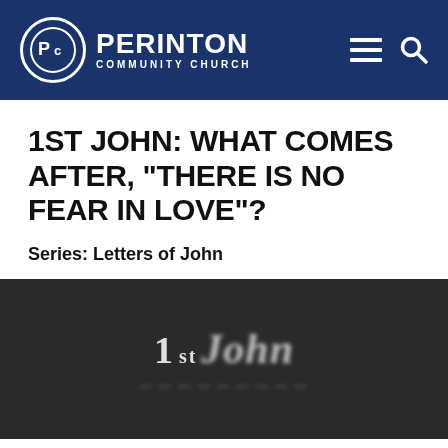[Figure (logo): Perinton Community Church logo with circular emblem containing 'Pc' letters, church name 'PERINTON' in large bold white text, 'COMMUNITY CHURCH' in smaller spaced white text, all on a dark navy blue header bar with hamburger menu and search icons on the right]
1ST JOHN: WHAT COMES AFTER, "THERE IS NO FEAR IN LOVE"?
Series: Letters of John
[Figure (photo): Dark blurred background image showing '1st John' text with sermon series branding, blurred subtitle text below]